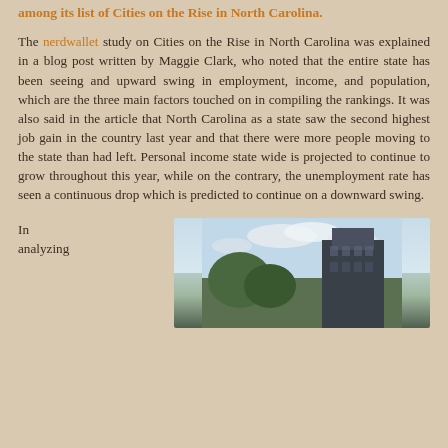among its list of Cities on the Rise in North Carolina.
The nerdwallet study on Cities on the Rise in North Carolina was explained in a blog post written by Maggie Clark, who noted that the entire state has been seeing and upward swing in employment, income, and population, which are the three main factors touched on in compiling the rankings. It was also said in the article that North Carolina as a state saw the second highest job gain in the country last year and that there were more people moving to the state than had left. Personal income state wide is projected to continue to grow throughout this year, while on the contrary, the unemployment rate has seen a continuous drop which is predicted to continue on a downward swing.
In analyzing
[Figure (photo): Photograph of a modern dark building with trees in the foreground and a cloudy sky in the background.]